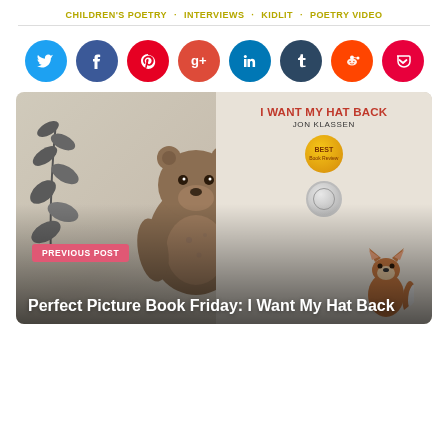CHILDREN'S POETRY · INTERVIEWS · KIDLIT · POETRY VIDEO
[Figure (infographic): Row of social media share buttons: Twitter (blue), Facebook (dark blue), Pinterest (red), Google+ (orange-red), LinkedIn (blue), Tumblr (dark navy), Reddit (orange), Pocket (pink-red)]
[Figure (photo): Book cover of 'I Want My Hat Back' by Jon Klassen with illustrated animals including a bear, fox wearing a hat, and a plant. A gold 'Best' badge and silver medal are visible on the cover.]
PREVIOUS POST
Perfect Picture Book Friday: I Want My Hat Back